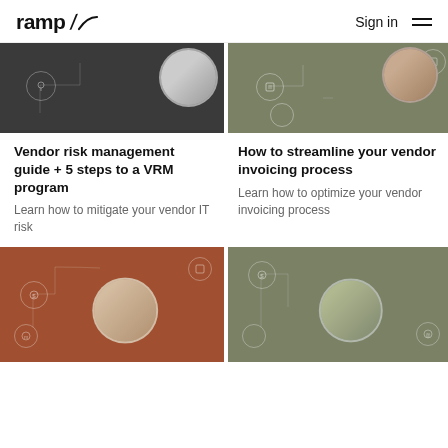ramp / Sign in
[Figure (photo): Dark background card image with circular photo of hands on laptop and connector icons]
[Figure (photo): Olive/green background card image with circular photo of hands holding coffee cup near laptop and connector icons]
Vendor risk management guide + 5 steps to a VRM program
How to streamline your vendor invoicing process
Learn how to mitigate your vendor IT risk
Learn how to optimize your vendor invoicing process
[Figure (photo): Rust/brown background card image with circular photo of people reviewing documents at a table and connector icons]
[Figure (photo): Olive/green background card image with circular photo of man working at laptop in office and connector icons]